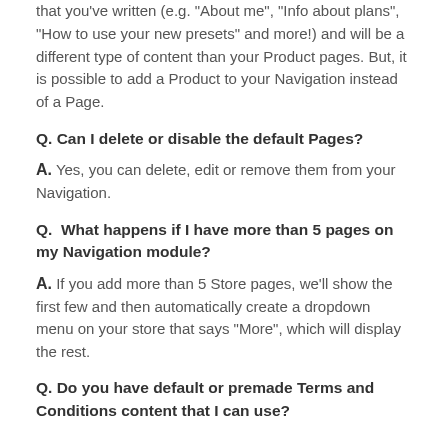that you've written (e.g. "About me", "Info about plans", "How to use your new presets" and more!) and will be a different type of content than your Product pages. But, it is possible to add a Product to your Navigation instead of a Page.
Q. Can I delete or disable the default Pages?
A. Yes, you can delete, edit or remove them from your Navigation.
Q.  What happens if I have more than 5 pages on my Navigation module?
A. If you add more than 5 Store pages, we'll show the first few and then automatically create a dropdown menu on your store that says "More", which will display the rest.
Q. Do you have default or premade Terms and Conditions content that I can use?